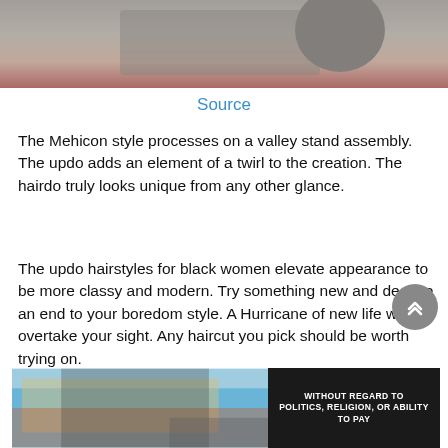[Figure (photo): Cropped photo showing a person in a red/maroon top holding a dark round object, partial view]
Source
The Mehicon style processes on a valley stand assembly. The updo adds an element of a twirl to the creation. The hairdo truly looks unique from any other glance.
The updo hairstyles for black women elevate appearance to be more classy and modern. Try something new and declare an end to your boredom style. A Hurricane of new life will overtake your sight. Any haircut you pick should be worth trying on.
[Figure (photo): Advertisement banner showing an airplane with American Airlines colors and text WITHOUT REGARD TO POLITICS, RELIGION, OR ABILITY TO PAY]